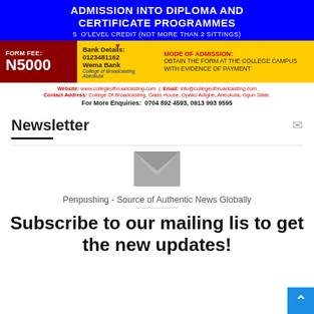[Figure (infographic): College of Broadcasting Abeokuta admission advertisement banner. Blue background with text 'ADMISSION INTO DIPLOMA AND CERTIFICATE PROGRAMMES', '5 O'LEVEL CREDIT (NOT MORE THAN 2 SITTINGS)'. Yellow strip with dark red box showing FORM FEE: N5000, bank details 0123481162 Wema Bank, and MODE OF ADMISSION info. White strip with website, email, contact address and phone numbers.]
Newsletter
[Figure (illustration): Large grey envelope/mail icon]
Penpushing - Source of Authentic News Globally
Subscribe to our mailing list to get the new updates!